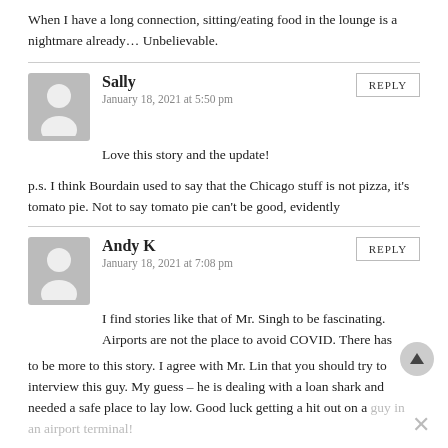When I have a long connection, sitting/eating food in the lounge is a nightmare already... Unbelievable.
Sally
January 18, 2021 at 5:50 pm
Love this story and the update!
p.s. I think Bourdain used to say that the Chicago stuff is not pizza, it's tomato pie. Not to say tomato pie can't be good, evidently
Andy K
January 18, 2021 at 7:08 pm
I find stories like that of Mr. Singh to be fascinating. Airports are not the place to avoid COVID. There has to be more to this story. I agree with Mr. Lin that you should try to interview this guy. My guess – he is dealing with a loan shark and needed a safe place to lay low. Good luck getting a hit out on a guy in an airport terminal!